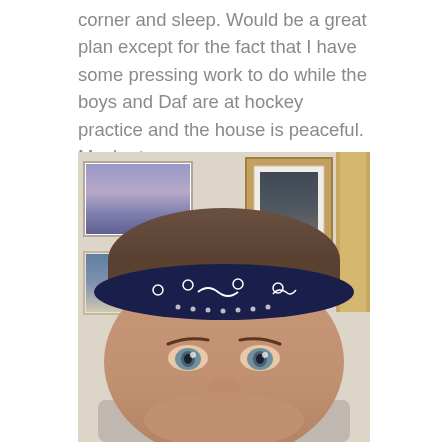corner and sleep. Would be a great plan except for the fact that I have some pressing work to do while the boys and Daf are at hockey practice and the house is peaceful. Maybe tomorrow …
[Figure (photo): A selfie photo of a person wearing a dark navy blue bandana/headband with white dot pattern. Behind them are framed photographs hanging on a wall, and a wooden door or cabinet on the right. The person has brown hair, green/grey eyes, and is looking at the camera close-up.]